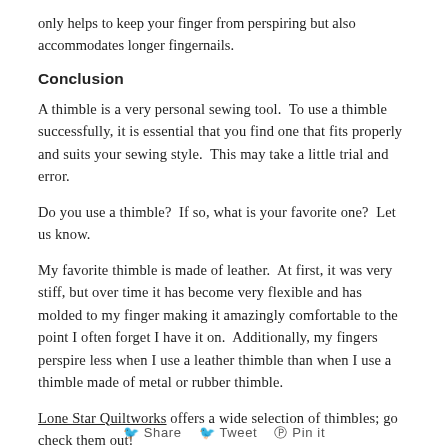only helps to keep your finger from perspiring but also accommodates longer fingernails.
Conclusion
A thimble is a very personal sewing tool.  To use a thimble successfully, it is essential that you find one that fits properly and suits your sewing style.  This may take a little trial and error.
Do you use a thimble?  If so, what is your favorite one?  Let us know.
My favorite thimble is made of leather.  At first, it was very stiff, but over time it has become very flexible and has molded to my finger making it amazingly comfortable to the point I often forget I have it on.  Additionally, my fingers perspire less when I use a leather thimble than when I use a thimble made of metal or rubber thimble.
Lone Star Quiltworks offers a wide selection of thimbles; go check them out!
f  Share    Twitter    Pinterest